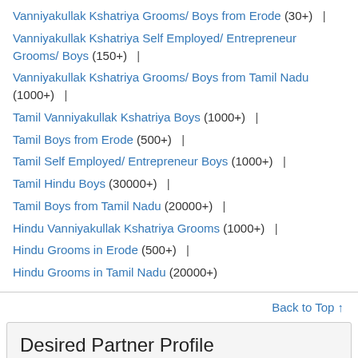Vanniyakullak Kshatriya Grooms/ Boys from Erode (30+) |
Vanniyakullak Kshatriya Self Employed/ Entrepreneur Grooms/ Boys (150+) |
Vanniyakullak Kshatriya Grooms/ Boys from Tamil Nadu (1000+) |
Tamil Vanniyakullak Kshatriya Boys (1000+) |
Tamil Boys from Erode (500+) |
Tamil Self Employed/ Entrepreneur Boys (1000+) |
Tamil Hindu Boys (30000+) |
Tamil Boys from Tamil Nadu (20000+) |
Hindu Vanniyakullak Kshatriya Grooms (1000+) |
Hindu Grooms in Erode (500+) |
Hindu Grooms in Tamil Nadu (20000+)
Back to Top ↑
Desired Partner Profile